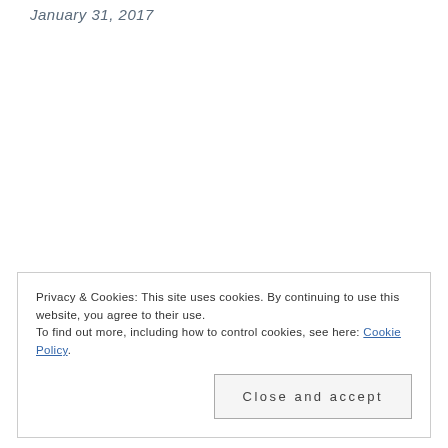January 31, 2017
Privacy & Cookies: This site uses cookies. By continuing to use this website, you agree to their use.
To find out more, including how to control cookies, see here: Cookie Policy
Close and accept